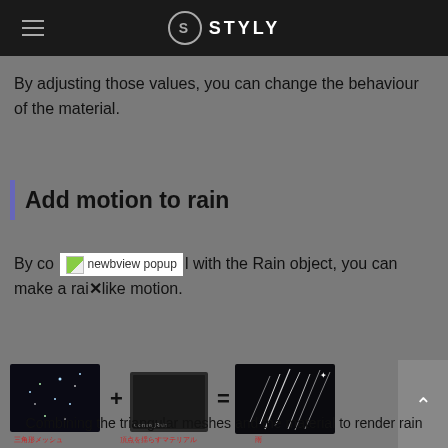STYLY
By adjusting those values, you can change the behaviour of the material.
Add motion to rain
By combining [newbview popup] with the Rain object, you can make a rain-like motion.
[Figure (infographic): Diagram showing triangular mesh image + material (Comm_Rain) = rain rendering result, with Japanese labels below each element]
Combining the triangular meshes and the material to render rain